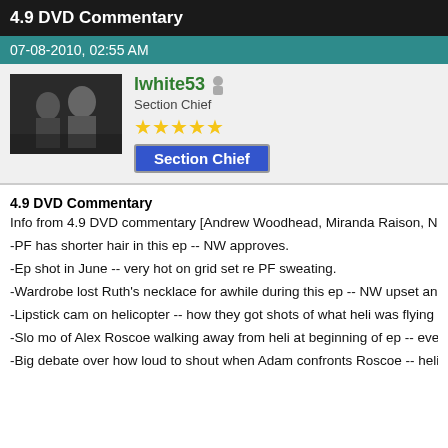4.9 DVD Commentary
07-08-2010, 02:55 AM
[Figure (photo): User avatar showing two women in a dark scene, and user profile info for lwhite53, Section Chief, five stars, Section Chief badge]
4.9 DVD Commentary
Info from 4.9 DVD commentary [Andrew Woodhead, Miranda Raison, N
-PF has shorter hair in this ep -- NW approves.
-Ep shot in June -- very hot on grid set re PF sweating.
-Wardrobe lost Ruth's necklace for awhile during this ep -- NW upset an
-Lipstick cam on helicopter -- how they got shots of what heli was flying
-Slo mo of Alex Roscoe walking away from heli at beginning of ep -- eve
-Big debate over how loud to shout when Adam confronts Roscoe -- heli